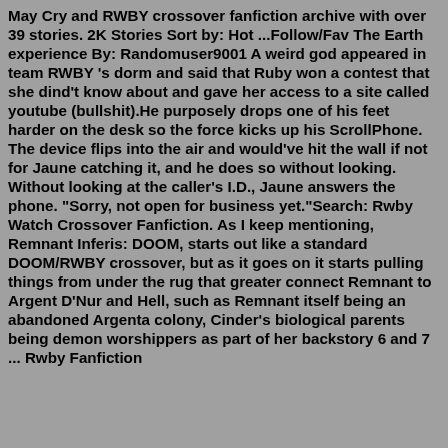May Cry and RWBY crossover fanfiction archive with over 39 stories. 2K Stories Sort by: Hot ...Follow/Fav The Earth experience By: Randomuser9001 A weird god appeared in team RWBY 's dorm and said that Ruby won a contest that she dind't know about and gave her access to a site called youtube (bullshit).He purposely drops one of his feet harder on the desk so the force kicks up his ScrollPhone. The device flips into the air and would've hit the wall if not for Jaune catching it, and he does so without looking. Without looking at the caller's I.D., Jaune answers the phone. "Sorry, not open for business yet."Search: Rwby Watch Crossover Fanfiction. As I keep mentioning, Remnant Inferis: DOOM, starts out like a standard DOOM/RWBY crossover, but as it goes on it starts pulling things from under the rug that greater connect Remnant to Argent D'Nur and Hell, such as Remnant itself being an abandoned Argenta colony, Cinder's biological parents being demon worshippers as part of her backstory 6 and 7 ... Rwby Fanfiction